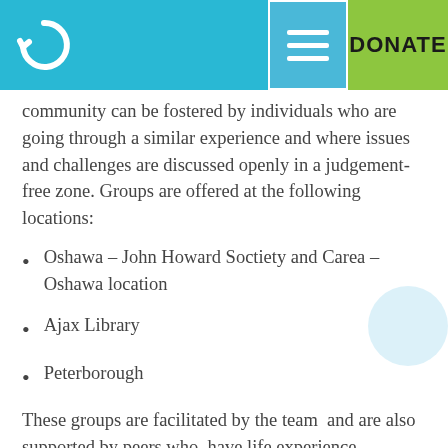Hep C community website header with logo and DONATE button
community can be fostered by individuals who are going through a similar experience and where issues and challenges are discussed openly in a judgement-free zone. Groups are offered at the following locations:
Oshawa – John Howard Soctiety and Carea – Oshawa location
Ajax Library
Peterborough
These groups are facilitated by the team  and are also supported by peers who  have life experience. For more information about Hep C or to speak with a member of the Hep C Team…